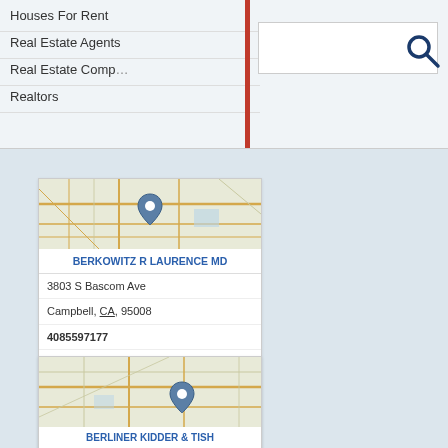Houses For Rent
Real Estate Agents
Real Estate Comp…
Realtors
[Figure (map): Street map with blue location pin marker for Berkowitz R Laurence MD in Campbell CA]
BERKOWITZ R LAURENCE MD
3803 S Bascom Ave
Campbell, CA, 95008
4085597177
Doctors Office
Doctors Offices
Medicaid Doctors
Physicians Surgeons
Plastic Surgeons
[Figure (map): Street map with blue location pin marker for Berliner Kidder & Tish]
BERLINER KIDDER & TISH